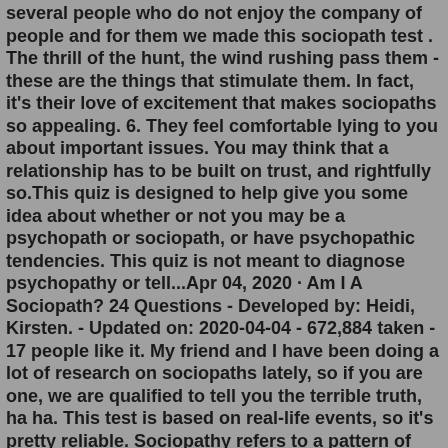several people who do not enjoy the company of people and for them we made this sociopath test . The thrill of the hunt, the wind rushing pass them - these are the things that stimulate them. In fact, it's their love of excitement that makes sociopaths so appealing. 6. They feel comfortable lying to you about important issues. You may think that a relationship has to be built on trust, and rightfully so.This quiz is designed to help give you some idea about whether or not you may be a psychopath or sociopath, or have psychopathic tendencies. This quiz is not meant to diagnose psychopathy or tell...Apr 04, 2020 · Am I A Sociopath? 24 Questions - Developed by: Heidi, Kirsten. - Updated on: 2020-04-04 - 672,884 taken - 17 people like it. My friend and I have been doing a lot of research on sociopaths lately, so if you are one, we are qualified to tell you the terrible truth, ha ha. This test is based on real-life events, so it's pretty reliable. Sociopathy refers to a pattern of antisocial behaviors and attitudes, including manipulation, deceit, aggression, and a lack of empathy for others.